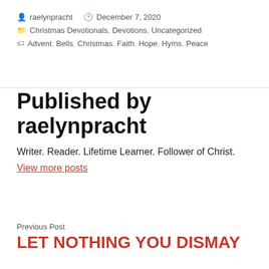By raelynpracht  December 7, 2020
Christmas Devotionals, Devotions, Uncategorized
Advent, Bells, Christmas, Faith, Hope, Hyms, Peace
Published by raelynpracht
Writer. Reader. Lifetime Learner. Follower of Christ.
View more posts
Previous Post
LET NOTHING YOU DISMAY